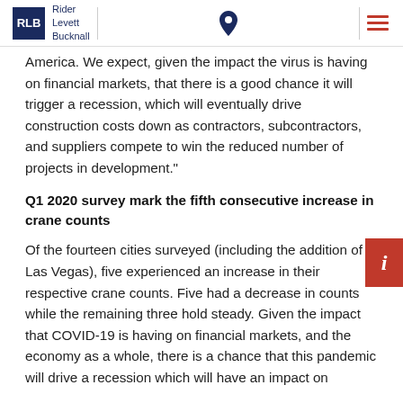Rider Levett Bucknall
America. We expect, given the impact the virus is having on financial markets, that there is a good chance it will trigger a recession, which will eventually drive construction costs down as contractors, subcontractors, and suppliers compete to win the reduced number of projects in development."
Q1 2020 survey mark the fifth consecutive increase in crane counts
Of the fourteen cities surveyed (including the addition of Las Vegas), five experienced an increase in their respective crane counts. Five had a decrease in counts while the remaining three hold steady. Given the impact that COVID-19 is having on financial markets, and the economy as a whole, there is a chance that this pandemic will drive a recession which will have an impact on